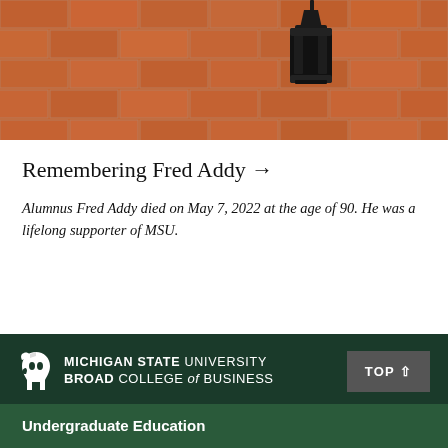[Figure (photo): Brick wall with a hanging black lantern light fixture, photographed from below at an angle.]
Remembering Fred Addy →
Alumnus Fred Addy died on May 7, 2022 at the age of 90. He was a lifelong supporter of MSU.
MICHIGAN STATE UNIVERSITY BROAD COLLEGE of BUSINESS | TOP ↑ | Undergraduate Education